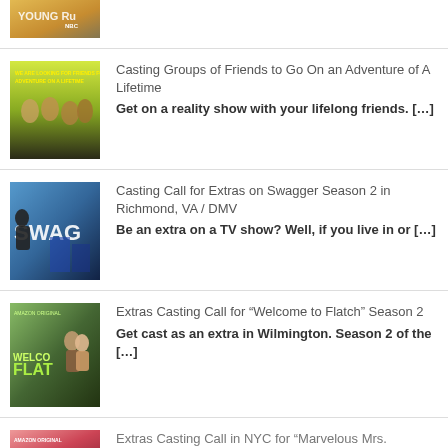[Figure (photo): Partial thumbnail of a TV show image at top of page]
Casting Groups of Friends to Go On an Adventure of A Lifetime
Get on a reality show with your lifelong friends. [...]
Casting Call for Extras on Swagger Season 2 in Richmond, VA / DMV
Be an extra on a TV show? Well, if you live in or [...]
Extras Casting Call for “Welcome to Flatch” Season 2
Get cast as an extra in Wilmington. Season 2 of the [...]
Extras Casting Call in NYC for “Marvelous Mrs.